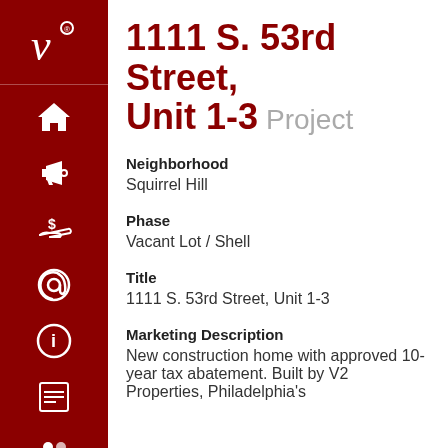1111 S. 53rd Street, Unit 1-3  Project
Neighborhood
Squirrel Hill
Phase
Vacant Lot / Shell
Title
1111 S. 53rd Street, Unit 1-3
Marketing Description
New construction home with approved 10-year tax abatement. Built by V2 Properties, Philadelphia's